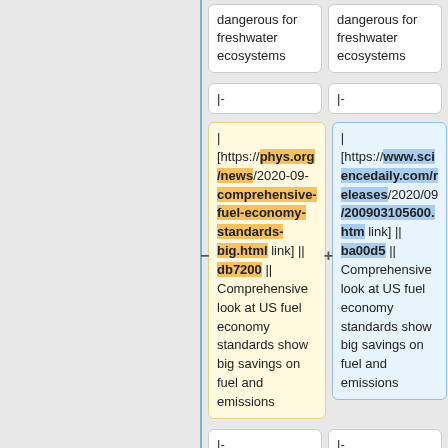dangerous for freshwater ecosystems
dangerous for freshwater ecosystems
|-
|-
| [https://phys.org/news/2020-09-comprehensive-fuel-economy-standards-big.html link] || db7200 || Comprehensive look at US fuel economy standards show big savings on fuel and emissions
| [https://www.sciencedaily.com/releases/2020/09/200903105600.htm link] || ba00d5 || Comprehensive look at US fuel economy standards show big savings on fuel and emissions
|-
|-